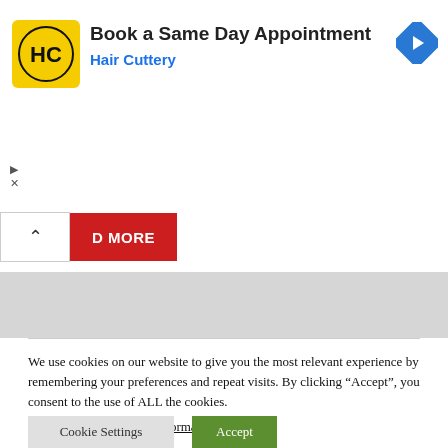[Figure (screenshot): Hair Cuttery advertisement banner with logo, title 'Book a Same Day Appointment', subtitle 'Hair Cuttery', navigation arrow icon, and ad controls (play and close).]
[Figure (screenshot): Collapse/chevron-up button and red 'D MORE' (Load More) button UI element.]
We use cookies on our website to give you the most relevant experience by remembering your preferences and repeat visits. By clicking “Accept”, you consent to the use of ALL the cookies.
Do not sell my personal information.
Cookie Settings
Accept